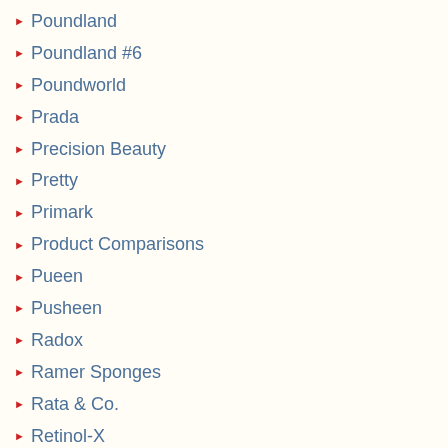Poundland
Poundland #6
Poundworld
Prada
Precision Beauty
Pretty
Primark
Product Comparisons
Pueen
Pusheen
Radox
Ramer Sponges
Rata & Co.
Retinol-X
Revlon
Rightguard
Rimmel
Rochas
Rossmann
Sainsbury's